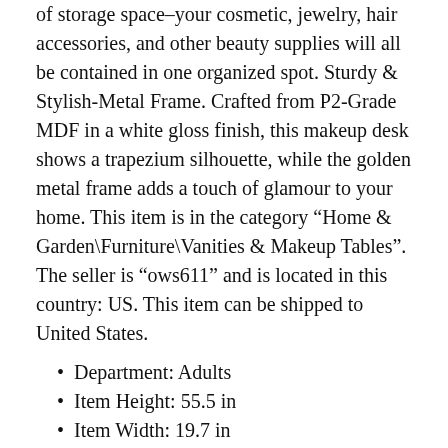of storage space–your cosmetic, jewelry, hair accessories, and other beauty supplies will all be contained in one organized spot. Sturdy & Stylish-Metal Frame. Crafted from P2-Grade MDF in a white gloss finish, this makeup desk shows a trapezium silhouette, while the golden metal frame adds a touch of glamour to your home. This item is in the category “Home & Garden\Furniture\Vanities & Makeup Tables”. The seller is “ows611” and is located in this country: US. This item can be shipped to United States.
Department: Adults
Item Height: 55.5 in
Item Width: 19.7 in
Assembly Required: Yes
Required Tools: Screwdriver
Type: Vanity Table
Color: White